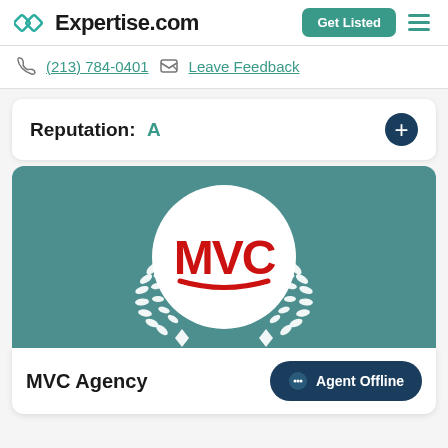Expertise.com
(213) 784-0401  Leave Feedback
Reputation: A
[Figure (logo): MVC Agency logo with red MVC letters in a white circle surrounded by a white laurel wreath on a teal background]
MVC Agency
Agent Offline